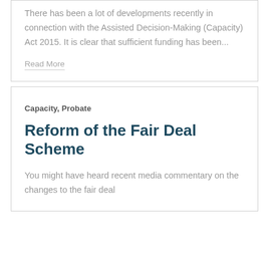There has been a lot of developments recently in connection with the Assisted Decision-Making (Capacity) Act 2015. It is clear that sufficient funding has been...
Read More
Capacity, Probate
Reform of the Fair Deal Scheme
You might have heard recent media commentary on the changes to the fair deal